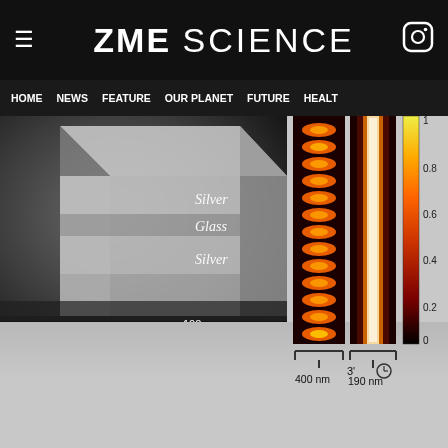ZME SCIENCE
HOME  NEWS  FEATURE  OUR PLANET  FUTURE  HEALT
[Figure (photo): Scanning electron microscope image of silver-glass-silver layered nanostructure with labels Silver, Glass, Silver and scale bar of 100 nm]
[Figure (other): Two heat map columns showing light intensity distribution (false color from black to yellow through red/orange), with colorbar 0 to 1, and labels 400 nm and 190 nm with 3' symbol below columns]